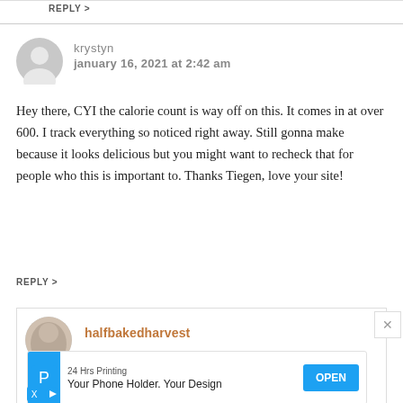REPLY >
krystyn
january 16, 2021 at 2:42 am
Hey there, CYI the calorie count is way off on this. It comes in at over 600. I track everything so noticed right away. Still gonna make because it looks delicious but you might want to recheck that for people who this is important to. Thanks Tiegen, love your site!
REPLY >
halfbakedharvest
[Figure (other): Advertisement banner: 24 Hrs Printing — Your Phone Holder. Your Design — OPEN button]